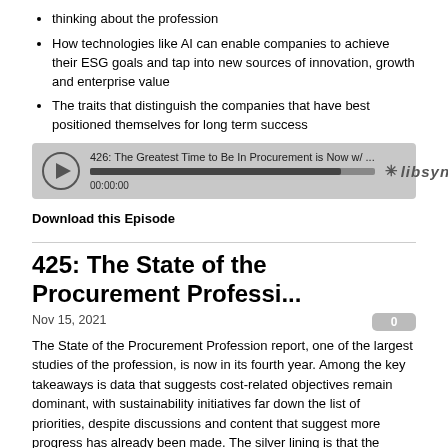thinking about the profession
How technologies like AI can enable companies to achieve their ESG goals and tap into new sources of innovation, growth and enterprise value
The traits that distinguish the companies that have best positioned themselves for long term success
[Figure (screenshot): Libsyn audio player showing episode '426: The Greatest Time to Be In Procurement is Now w/ ...' with a progress bar and timestamp 00:00:00]
Download this Episode
425: The State of the Procurement Professi...
Nov 15, 2021
The State of the Procurement Profession report, one of the largest studies of the profession, is now in its fourth year. Among the key takeaways is data that suggests cost-related objectives remain dominant, with sustainability initiatives far down the list of priorities, despite discussions and content that suggest more progress has already been made. The silver lining is that the entrepreneurial procurement movement seems to be taking hold, and may usher in a time of accelerated change.